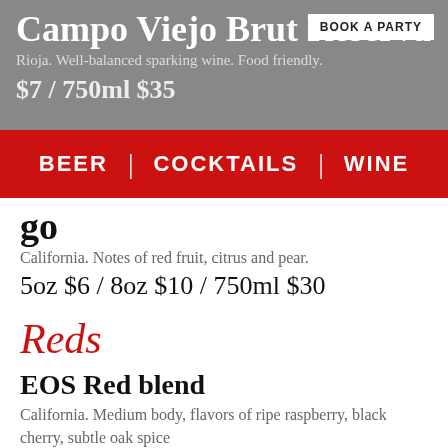Campo Viejo Brut Reserva
Rioja. Well-balanced sparking wine. Food friendly.
BOOK A PARTY
$7 / 750ml $35
BEER | COCKTAILS | WINE
go
California. Notes of red fruit, citrus and pear.
5oz $6 / 8oz $10 / 750ml $30
Reds
EOS Red blend
California. Medium body, flavors of ripe raspberry, black cherry, subtle oak spice
5oz $7 / 8oz $11 / 750ml $30